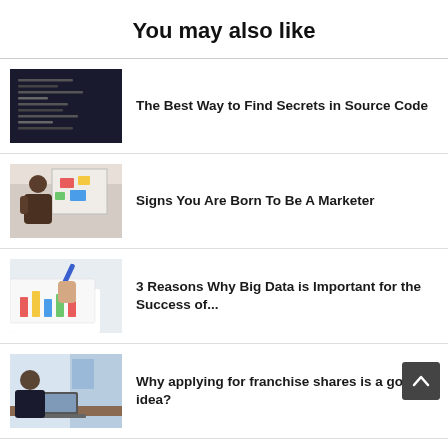You may also like
The Best Way to Find Secrets in Source Code
Signs You Are Born To Be A Marketer
3 Reasons Why Big Data is Important for the Success of...
Why applying for franchise shares is a good idea?
What Generates Successful...